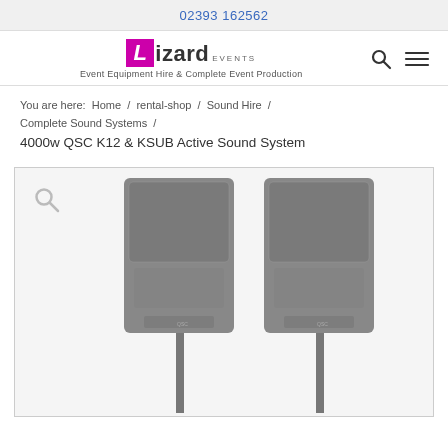02393 162562
[Figure (logo): Lizard Events logo with magenta L box and tagline: Event Equipment Hire & Complete Event Production]
You are here:  Home  /  rental-shop  /  Sound Hire  /  Complete Sound Systems  /
4000w QSC K12 & KSUB Active Sound System
[Figure (photo): Two QSC K12 active speakers on stands, gray colored, product photo on light background]